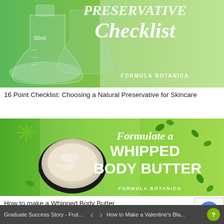[Figure (illustration): Formula Botanica branded image showing laboratory flasks/beakers against a green gradient background with text 'Preservative Checklist' in italic white font and 'FORMULA BOTANICA' subtitle]
16 Point Checklist: Choosing a Natural Preservative for Skincare
[Figure (illustration): Formula Botanica branded image with green gradient background showing a bowl of whipped body butter cream and green leaves/buds. Text reads 'Formulate a WHIPPED BODY BUTTER' in white italic and bold fonts. 'FORMULA BOTANICA' subtitle at bottom.]
How to make a Whipped Body Butter
Graduate Success Story - Frutose ...    <   >    How to Make a Valentine's Bla...